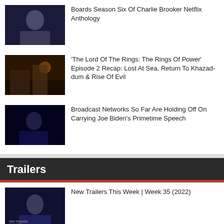Boards Season Six Of Charlie Brooker Netflix Anthology
'The Lord Of The Rings: The Rings Of Power' Episode 2 Recap: Lost At Sea, Return To Khazad-dum & Rise Of Evil
Broadcast Networks So Far Are Holding Off On Carrying Joe Biden’s Primetime Speech
Trailers
New Trailers This Week | Week 35 (2022)